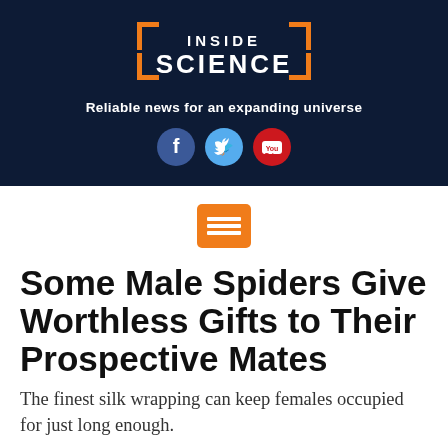[Figure (logo): Inside Science logo with orange bracket decorations on dark navy background]
Reliable news for an expanding universe
[Figure (infographic): Social media icons: Facebook, Twitter, YouTube]
[Figure (infographic): Orange hamburger menu button with three horizontal lines]
Some Male Spiders Give Worthless Gifts to Their Prospective Mates
The finest silk wrapping can keep females occupied for just long enough.